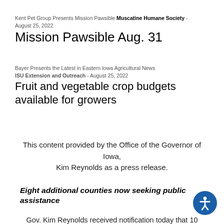Kent Pet Group Presents Mission Pawsible – Muscatine Humane Society – August 25, 2022
Mission Pawsible Aug. 31
Bayer Presents the Latest in Eastern Iowa Agricultural News
ISU Extension and Outreach - August 25, 2022
Fruit and vegetable crop budgets available for growers
This content provided by the Office of the Governor of Iowa, Kim Reynolds as a press release.
Eight additional counties now seeking public assistance
Gov. Kim Reynolds received notification today that 10 additional counties that were impacted by the Aug. derecho have been approved for the Federal Emergency